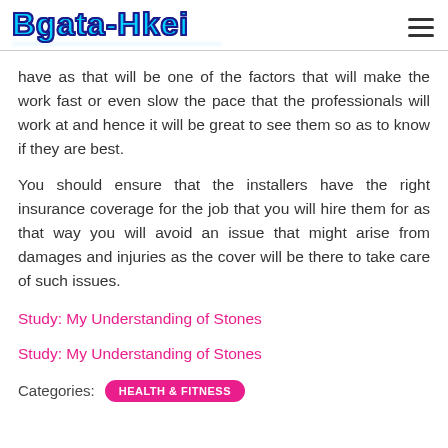Bgata-Hkei
have as that will be one of the factors that will make the work fast or even slow the pace that the professionals will work at and hence it will be great to see them so as to know if they are best.
You should ensure that the installers have the right insurance coverage for the job that you will hire them for as that way you will avoid an issue that might arise from damages and injuries as the cover will be there to take care of such issues.
Study: My Understanding of Stones
Study: My Understanding of Stones
Categories: HEALTH & FITNESS